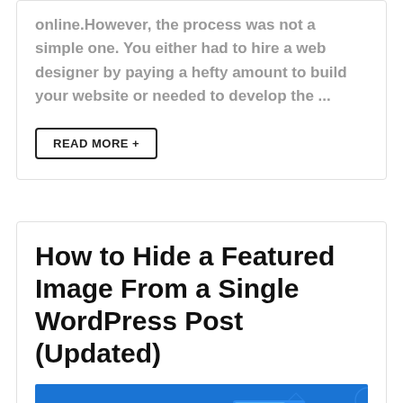online.However, the process was not a simple one. You either had to hire a web designer by paying a hefty amount to build your website or needed to develop the ...
READ MORE +
How to Hide a Featured Image From a Single WordPress Post (Updated)
[Figure (illustration): Blue background illustration showing a person uploading an image file, with a framed landscape photo containing mountains and sun visible on a digital screen, upload arrows, and UI elements with 'UPLOADING' progress bar]